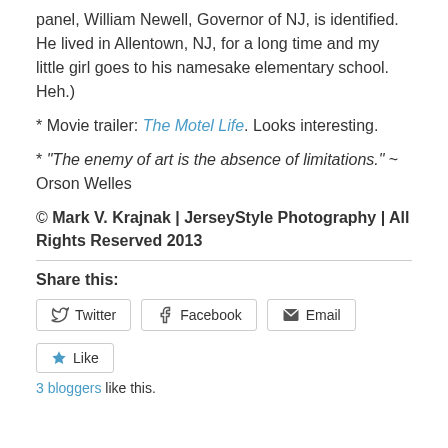panel, William Newell, Governor of NJ, is identified. He lived in Allentown, NJ, for a long time and my little girl goes to his namesake elementary school. Heh.)
* Movie trailer: The Motel Life. Looks interesting.
* “The enemy of art is the absence of limitations.” ~ Orson Welles
© Mark V. Krajnak | JerseyStyle Photography | All Rights Reserved 2013
Share this:
Twitter | Facebook | Email
Like
3 bloggers like this.